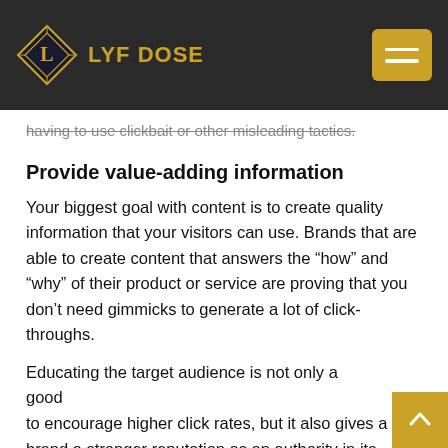LYF DOSE
having to use clickbait or other misleading tactics.
Provide value-adding information
Your biggest goal with content is to create quality information that your visitors can use. Brands that are able to create content that answers the “how” and “why” of their product or service are proving that you don’t need gimmicks to generate a lot of click-throughs.
Educating the target audience is not only a good to encourage higher click rates, but it also gives a brand a stronger reputation as an authority in its